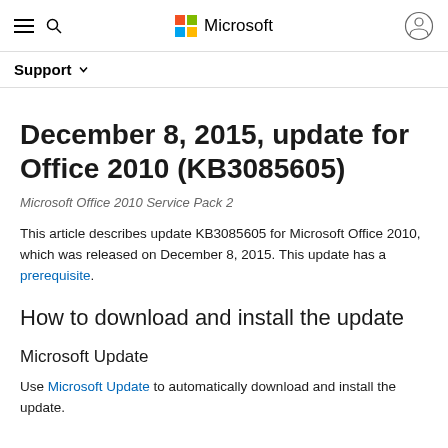Microsoft
Support
December 8, 2015, update for Office 2010 (KB3085605)
Microsoft Office 2010 Service Pack 2
This article describes update KB3085605 for Microsoft Office 2010, which was released on December 8, 2015. This update has a prerequisite.
How to download and install the update
Microsoft Update
Use Microsoft Update to automatically download and install the update.